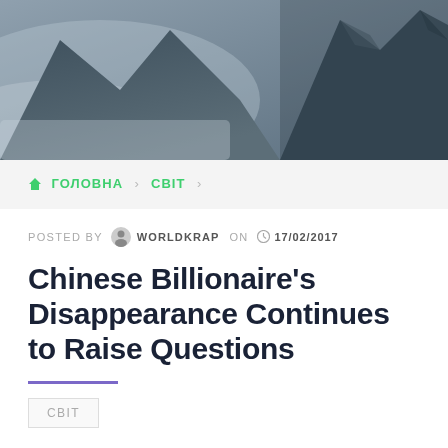[Figure (photo): Hero image: dark blue-grey mountain landscape with rocky peaks and mist/clouds]
🏠 ГОЛОВНА > СВІТ >
POSTED BY WORLDKRAP ON 17/02/2017
Chinese Billionaire's Disappearance Continues to Raise Questions
СВІТ